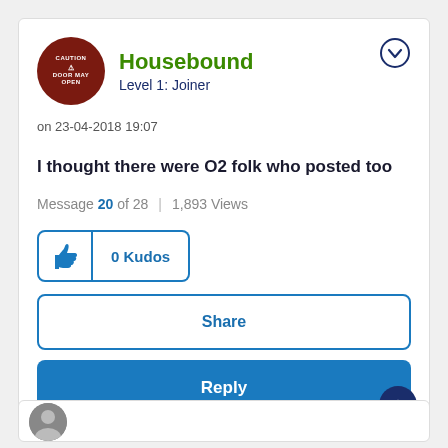[Figure (illustration): User avatar: circular dark red badge with CAUTION text and warning sign]
Housebound
Level 1: Joiner
on 23-04-2018 19:07
I thought there were O2 folk who posted too
Message 20 of 28  |  1,893 Views
0 Kudos
Share
Reply